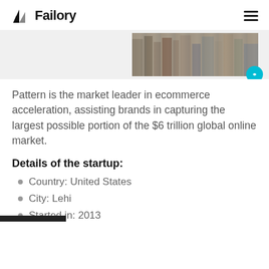Failory
[Figure (photo): Partial banner image showing aerial view of city buildings/skyscrapers with a blue circular icon overlay]
Pattern is the market leader in ecommerce acceleration, assisting brands in capturing the largest possible portion of the $6 trillion global online market.
Details of the startup:
Country: United States
City: Lehi
Started in: 2013